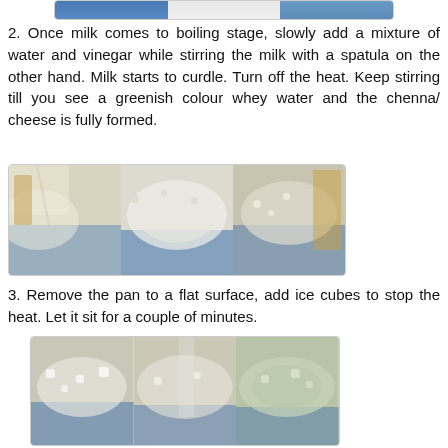[Figure (photo): Three-panel photo strip showing milk curdling process at top of page]
2. Once milk comes to boiling stage, slowly add a mixture of water and vinegar while stirring the milk with a spatula on the other hand. Milk starts to curdle. Turn off the heat. Keep stirring till you see a greenish colour whey water and the chenna/ cheese is fully formed.
[Figure (photo): Three-panel photo strip showing chenna/cheese formation in a blue pan]
3. Remove the pan to a flat surface, add ice cubes to stop the heat. Let it sit for a couple of minutes.
[Figure (photo): Three-panel photo strip showing chenna with ice cubes, including greenish whey water visible]
4. Line a strainer with a cheesecloth and pour the mixture. Chenna / paneer is collected. Squeeze the water out and bring the edges of the cheesecloth to the centre to tie in a tight knot tie for a few minutes.